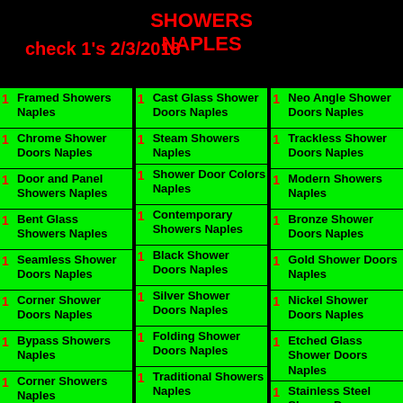check 1's 2/3/2018
SHOWERS NAPLES
1 Framed Showers Naples
1 Chrome Shower Doors Naples
1 Door and Panel Showers Naples
1 Bent Glass Showers Naples
1 Seamless Shower Doors Naples
1 Corner Shower Doors Naples
1 Bypass Showers Naples
1 Corner Showers Naples
1 Multi-Panel Shower Doors Naples
1 Curved Shower Doors Naples
1 Cast Glass Shower Doors Naples
1 Steam Showers Naples
1 Shower Door Colors Naples
1 Contemporary Showers Naples
1 Black Shower Doors Naples
1 Silver Shower Doors Naples
1 Folding Shower Doors Naples
1 Traditional Showers Naples
1 Frameless Shower Doors Naples
1 Bi Fold Shower Doors Naples
1 Neo Angle Shower Doors Naples
1 Trackless Shower Doors Naples
1 Modern Showers Naples
1 Bronze Shower Doors Naples
1 Gold Shower Doors Naples
1 Nickel Shower Doors Naples
1 Etched Glass Shower Doors Naples
1 Stainless Steel Shower Doors Naples
1 Pivot Shower Doors Naples
1 Custom Showers Naples